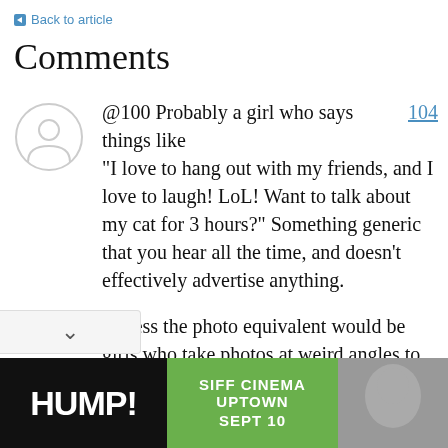← Back to article
Comments
@100 Probably a girl who says things like "I love to hang out with my friends, and I love to laugh! LoL! Want to talk about my cat for 3 hours?" Something generic that you hear all the time, and doesn't effectively advertise anything.

I guess the photo equivalent would be girls who take photos at weird angles to conceal their fat.
[Figure (other): Advertisement banner for HUMP! at SIFF Cinema Uptown, Sept 10]